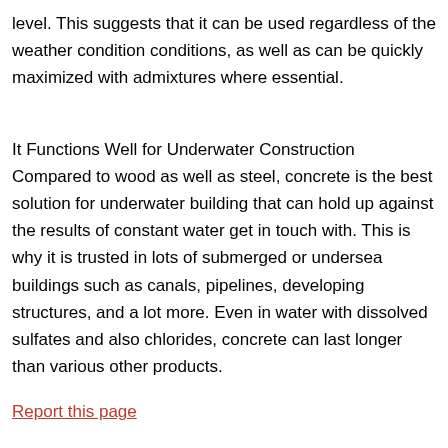level. This suggests that it can be used regardless of the weather condition conditions, as well as can be quickly maximized with admixtures where essential.
It Functions Well for Underwater Construction Compared to wood as well as steel, concrete is the best solution for underwater building that can hold up against the results of constant water get in touch with. This is why it is trusted in lots of submerged or undersea buildings such as canals, pipelines, developing structures, and a lot more. Even in water with dissolved sulfates and also chlorides, concrete can last longer than various other products.
Report this page